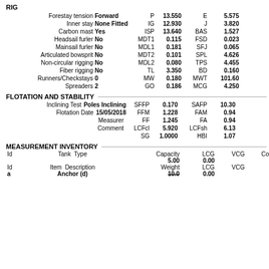RIG
Forestay tension Forward | P 13.550 | E 5.575
Inner stay None Fitted | IG 12.930 | J 3.820
Carbon mast Yes | ISP 13.640 | BAS 1.527
Headsail furler No | MDT1 0.115 | FSD 0.023
Mainsail furler No | MDL1 0.181 | SFJ 0.065
Articulated bowsprit No | MDT2 0.101 | SPL 4.626
Non-circular rigging No | MDL2 0.080 | TPS 4.455
Fiber rigging No | TL 3.350 | BD 0.160
Runners/Checkstays 0 | MW 0.180 | MWT 101.60
Spreaders 2 | GO 0.186 | MCG 4.250
FLOTATION AND STABILITY
Inclining Test Poles Inclining | SFFP 0.170 | SAFP 10.30
Flotation Date 15/05/2018 | FFM 1.228 | FAM 0.94
Measurer | FF 1.245 | FA 0.94
Comment | LCFcl 5.920 | LCFsh 6.13
 | SG 1.0000 | HBI 1.07
MEASUREMENT INVENTORY
| Id | Tank  Type |  | Capacity | LCG | VCG | Co |
| --- | --- | --- | --- | --- | --- | --- |
|  |  |  | 5.00 | 0.00 |  |
| Id | Item  Description |  | Weight | LCG | VCG |  |
| a | Anchor (d) |  | 10.0 | 0.00 |  |